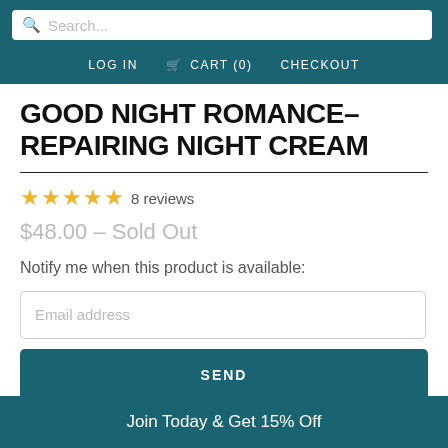Search... LOG IN  CART (0)  CHECKOUT
GOOD NIGHT ROMANCE– REPAIRING NIGHT CREAM
★★★★★ 8 reviews
$48.00 – Sold Out
Notify me when this product is available:
Email address
SEND
Join Today & Get 15% Off